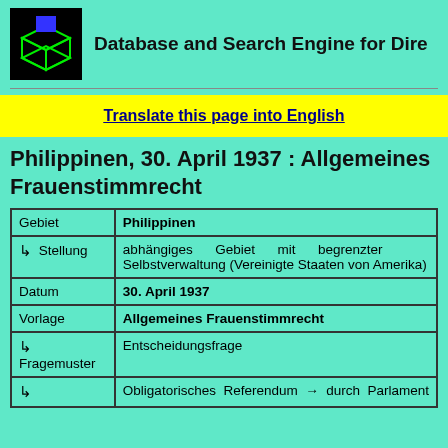[Figure (logo): Green wireframe box with blue square on top, database/ballot box logo]
Database and Search Engine for Dire...
Translate this page into English
Philippinen, 30. April 1937 : Allgemeines Frauenstimmrecht
| Gebiet | Philippinen |
| ↳ Stellung | abhängiges Gebiet mit begrenzter Selbstverwaltung (Vereinigte Staaten von Amerika) |
| Datum | 30. April 1937 |
| Vorlage | Allgemeines Frauenstimmrecht |
| ↳
Fragemuster | Entscheidungsfrage |
| ↳ | Obligatorisches Referendum → durch Parlament |